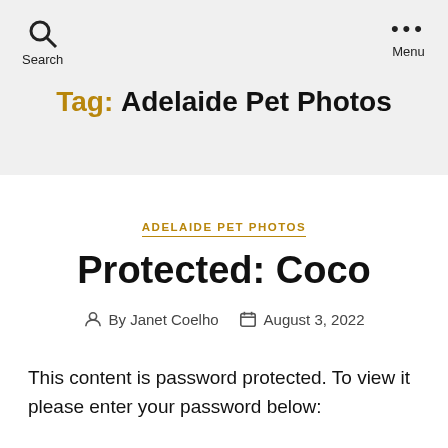Search  Menu
Tag: Adelaide Pet Photos
ADELAIDE PET PHOTOS
Protected: Coco
By Janet Coelho  August 3, 2022
This content is password protected. To view it please enter your password below: